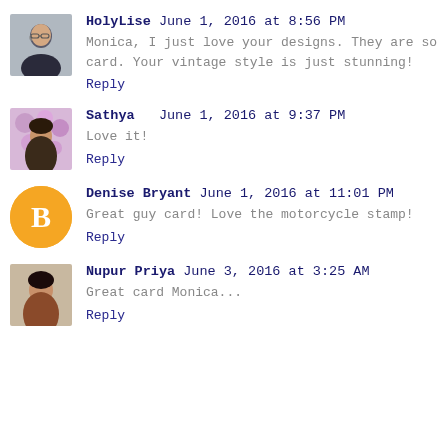HolyLise June 1, 2016 at 8:56 PM
Monica, I just love your designs. They are so card. Your vintage style is just stunning!
Reply
Sathya June 1, 2016 at 9:37 PM
Love it!
Reply
Denise Bryant June 1, 2016 at 11:01 PM
Great guy card! Love the motorcycle stamp!
Reply
Nupur Priya June 3, 2016 at 3:25 AM
Great card Monica...
Reply